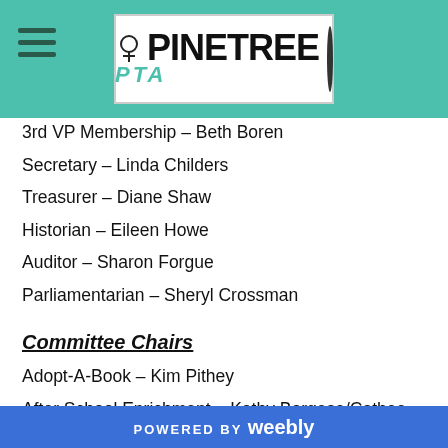Pinetree PTA
3rd VP Membership – Beth Boren
Secretary – Linda Childers
Treasurer – Diane Shaw
Historian – Eileen Howe
Auditor – Sharon Forgue
Parliamentarian – Sheryl Crossman
Committee Chairs
Adopt-A-Book – Kim Pithey
After School Enrichment – Kathy Borgese/Cathee Mivelaz
Backyard Swim Program – Suzanne Duncombe
Basic Aid Training – Vickie Norris
Book Fairs – Jane Bates/Kim Pithey
POWERED BY weebly